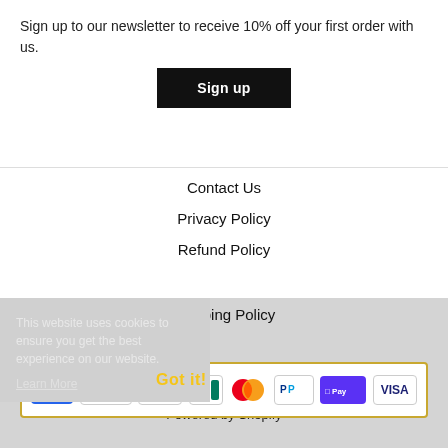Sign up to our newsletter to receive 10% off your first order with us.
Sign up
Contact Us
Privacy Policy
Refund Policy
Shipping Policy
Terms of Service
This website uses cookies to ensure you get the best experience on our website.
Learn More
© 2022, marhoandco
Powered by Shopify
[Figure (other): Payment method icons: American Express, Apple Pay, Google Pay, JCB, Mastercard, PayPal, Shop Pay, Visa inside a gold-bordered box]